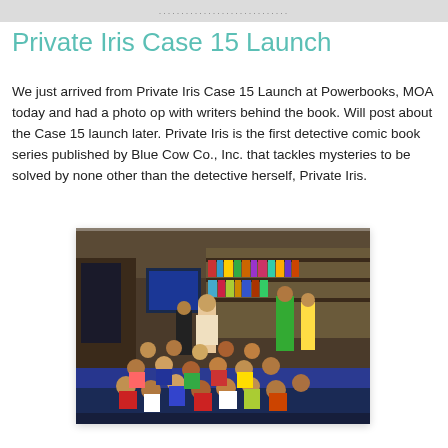............................
Private Iris Case 15 Launch
We just arrived from Private Iris Case 15 Launch at Powerbooks, MOA today and had a photo op with writers behind the book. Will post about the Case 15 launch later. Private Iris is the first detective comic book series published by Blue Cow Co., Inc. that tackles mysteries to be solved by none other than the detective herself, Private Iris.
[Figure (photo): A bookstore event scene with an audience of children seated on the floor and adults standing, watching a presenter at the front near a display screen and book exhibits.]